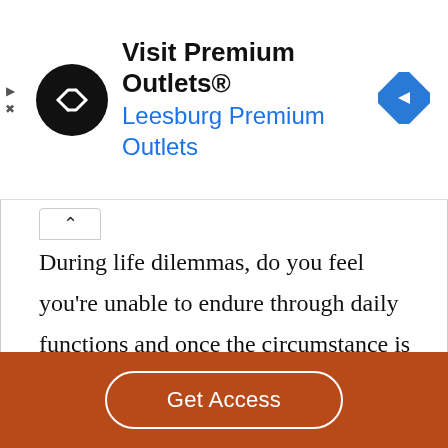[Figure (screenshot): Advertisement banner for 'Visit Premium Outlets® Leesburg Premium Outlets' with a circular black logo with white arrows, and a blue diamond map direction icon on the right. Two small navigation icons (play and close) on the far left.]
During life dilemmas, do you feel you're unable to endure through daily functions and once the circumstance is resolved, do you often feel relieved? This occurrence is a part of everyone's life, but for my family this happens everyday with very few serene moments. However, in the peaceful times with my family, my mind and body
Get Access